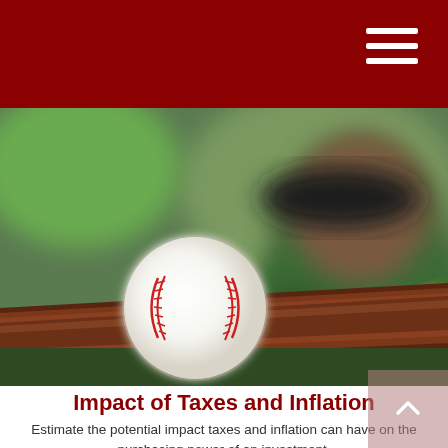[Figure (photo): Close-up photograph of a white baseball with red stitching resting on a wooden baseball bat, with a blurred player in green uniform and yellow bat handle in the background]
Impact of Taxes and Inflation
Estimate the potential impact taxes and inflation can have on the purchasing power of an investment.